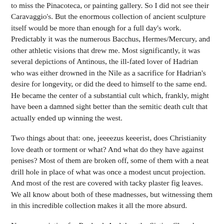to miss the Pinacoteca, or painting gallery. So I did not see their Caravaggio's. But the enormous collection of ancient sculpture itself would be more than enough for a full day's work. Predictably it was the numerous Bacchus, Hermes/Mercury, and other athletic visions that drew me. Most significantly, it was several depictions of Antinous, the ill-fated lover of Hadrian who was either drowned in the Nile as a sacrifice for Hadrian's desire for longevity, or did the deed to himself to the same end. He became the center of a substantial cult which, frankly, might have been a damned sight better than the semitic death cult that actually ended up winning the west.
Two things about that: one, jeeeezus keeerist, does Christianity love death or torment or what? And what do they have against penises? Most of them are broken off, some of them with a neat drill hole in place of what was once a modest uncut projection. And most of the rest are covered with tacky plaster fig leaves. We all know about both of these madnesses, but witnessing them in this incredible collection makes it all the more absurd.
New appreciation for Raphael. And then the Sistine Chapel...